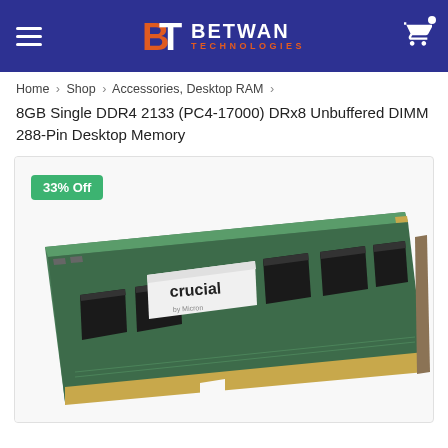Betwan Technologies
Home > Shop > Accessories, Desktop RAM >
8GB Single DDR4 2133 (PC4-17000) DRx8 Unbuffered DIMM 288-Pin Desktop Memory
[Figure (photo): Crucial branded DDR4 RAM stick (green PCB with black memory chips and gold contacts) shown at an angle with a '33% Off' green badge in the top-left corner]